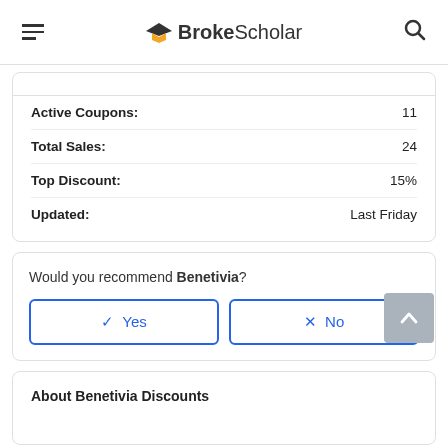BrokeScholar
| Label | Value |
| --- | --- |
| Active Coupons: | 11 |
| Total Sales: | 24 |
| Top Discount: | 15% |
| Updated: | Last Friday |
Would you recommend Benetivia?
Yes
No
About Benetivia Discounts